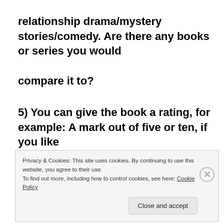relationship drama/mystery stories/comedy. Are there any books or series you would

compare it to?
5) You can give the book a rating, for example: A mark out of five or ten, if you like
Privacy & Cookies: This site uses cookies. By continuing to use this website, you agree to their use.
To find out more, including how to control cookies, see here: Cookie Policy